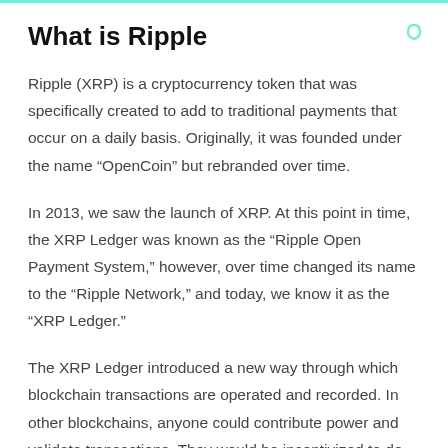What is Ripple
Ripple (XRP) is a cryptocurrency token that was specifically created to add to traditional payments that occur on a daily basis. Originally, it was founded under the name “OpenCoin” but rebranded over time.
In 2013, we saw the launch of XRP. At this point in time, the XRP Ledger was known as the “Ripple Open Payment System,” however, over time changed its name to the “Ripple Network,” and today, we know it as the “XRP Ledger.”
The XRP Ledger introduced a new way through which blockchain transactions are operated and recorded. In other blockchains, anyone could contribute power and validate transactions. They would be incentivized to do